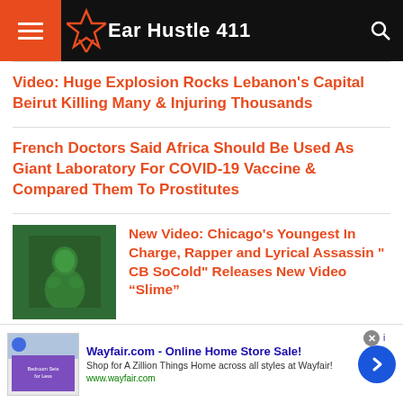Ear Hustle 411
Video: Huge Explosion Rocks Lebanon's Capital Beirut Killing Many & Injuring Thousands
French Doctors Said Africa Should Be Used As Giant Laboratory For COVID-19 Vaccine & Compared Them To Prostitutes
[Figure (photo): Green-tinted photo of a rapper performing]
New Video: Chicago's Youngest In Charge, Rapper and Lyrical Assassin " CB SoCold" Releases New Video “Slime”
Wayfair.com - Online Home Store Sale! Shop for A Zillion Things Home across all styles at Wayfair! www.wayfair.com